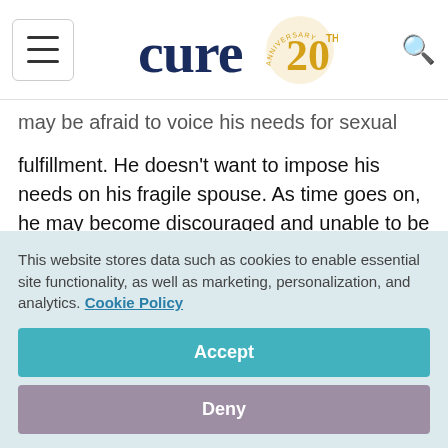cure20 [logo]
may be afraid to voice his needs for sexual fulfillment. He doesn’t want to impose his needs on his fragile spouse. As time goes on, he may become discouraged and unable to be as patient as he was at the onset of the illness. This can create sexual tension between the husband and wife.
A good piece of advice involves listening to the
This website stores data such as cookies to enable essential site functionality, as well as marketing, personalization, and analytics. Cookie Policy
Accept
Deny